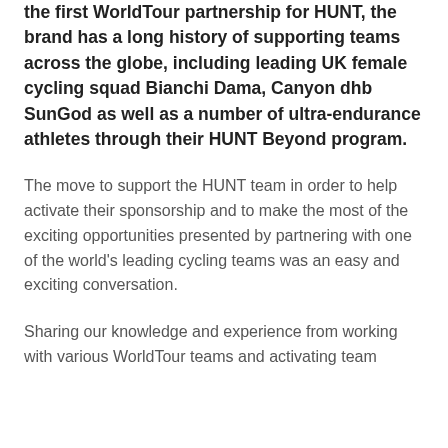the first WorldTour partnership for HUNT, the brand has a long history of supporting teams across the globe, including leading UK female cycling squad Bianchi Dama, Canyon dhb SunGod as well as a number of ultra-endurance athletes through their HUNT Beyond program.
The move to support the HUNT team in order to help activate their sponsorship and to make the most of the exciting opportunities presented by partnering with one of the world's leading cycling teams was an easy and exciting conversation.
Sharing our knowledge and experience from working with various WorldTour teams and activating team